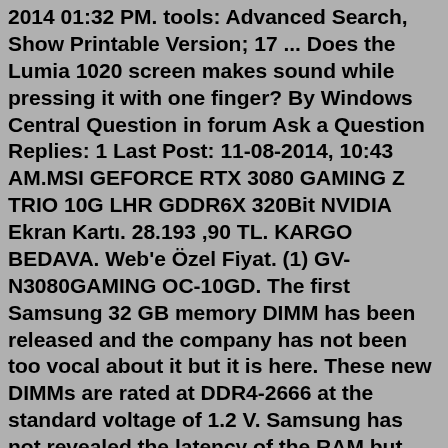2014 01:32 PM. tools: Advanced Search, Show Printable Version; 17 ... Does the Lumia 1020 screen makes sound while pressing it with one finger? By Windows Central Question in forum Ask a Question Replies: 1 Last Post: 11-08-2014, 10:43 AM.MSI GEFORCE RTX 3080 GAMING Z TRIO 10G LHR GDDR6X 320Bit NVIDIA Ekran Kartı. 28.193 ,90 TL. KARGO BEDAVA. Web'e Özel Fiyat. (1) GV-N3080GAMING OC-10GD. The first Samsung 32 GB memory DIMM has been released and the company has not been too vocal about it but it is here. These new DIMMs are rated at DDR4-2666 at the standard voltage of 1.2 V. Samsung has not revealed the latency of the RAM but keeping in mind that the company is selling these to OEMs, it is safe to say that these operate at the standard CL17 17-17 or higher.PassMark Software - CPU Benchmarks - Over 1 million CPUs and 1,000 models benchmarked and compared in graph form, updated daily!Full screen dual sim fingerprint as good as new. ... Infinix Smart HD 2021 32 GB Black Posted 27/06 Nairobi Central,